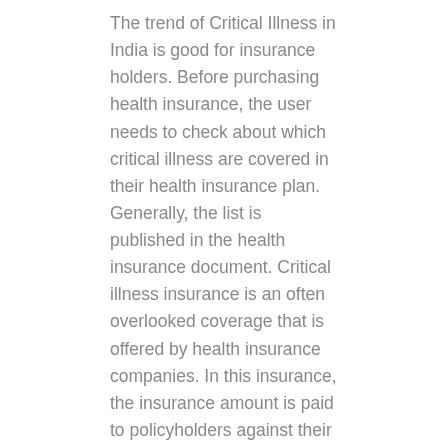The trend of Critical Illness in India is good for insurance holders. Before purchasing health insurance, the user needs to check about which critical illness are covered in their health insurance plan. Generally, the list is published in the health insurance document. Critical illness insurance is an often overlooked coverage that is offered by health insurance companies. In this insurance, the insurance amount is paid to policyholders against their critical illness. Many diseases are Incurable. The cost of treatment for critical illness is generally high.
What is Critical Illness Insurance cover?
In Critical Illness Insurance, If the insurance holder is diagnosed with a life-threating illness, then the insurance company provides a lump sum amount to help. The list of critical illnesses and lump sum amount against disease is provided in policy documents. In some health insurance policies, if the